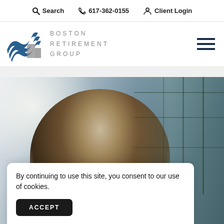Search   617-362-0155   Client Login
[Figure (logo): Boston Retirement Group logo with blue wave/mountain graphic and gray text reading BOSTON RETIREMENT GROUP, plus hamburger menu icon on the right]
[Figure (photo): Hero photo of a middle-aged Asian man wearing glasses and a blazer, looking downward, in a modern glass-windowed building interior]
By continuing to use this site, you consent to our use of cookies.
ACCEPT